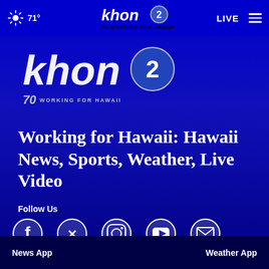71° khon2 WORKING FOR HAWAII LIVE
[Figure (logo): KHON2 logo - khon2 with stylized 2, 70 years WORKING FOR HAWAII]
Working for Hawaii: Hawaii News, Sports, Weather, Live Video
Follow Us
[Figure (infographic): Social media icons: Facebook, Twitter, Instagram, YouTube, Email]
News App
Weather App